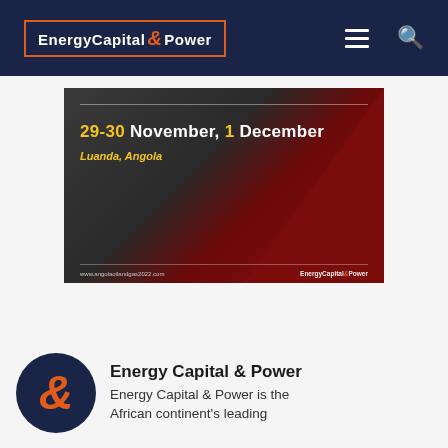Energy Capital & Power
[Figure (screenshot): Event banner for Angola Oil & Gas 2022 conference showing dates 29-30 November, 1 December in Luanda, Angola with dark background and red triangle design]
Energy Capital & Power
Energy Capital & Power is the African continent's leading